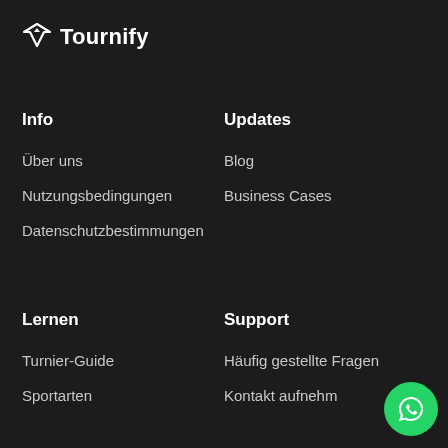[Figure (logo): Tournify logo with diamond/arrow icon and bold text 'Tournify']
Info
Updates
Über uns
Blog
Nutzungsbedingungen
Business Cases
Datenschutzbestimmungen
Lernen
Support
Turnier-Guide
Häufig gestellte Fragen
Sportarten
Kontakt aufnehmen